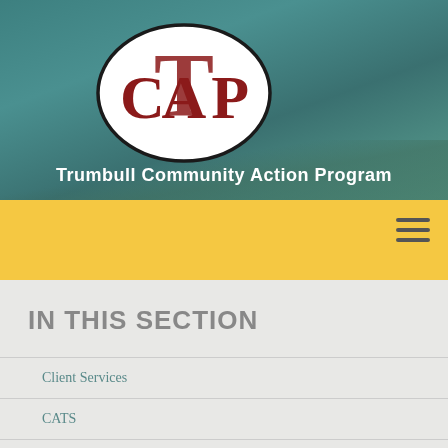[Figure (logo): CAP logo — oval black border enclosing stylized letters CAP with large T behind them in dark red/maroon on white background]
Trumbull Community Action Program
[Figure (other): Yellow navigation bar with hamburger menu icon (three horizontal lines) on the right side]
IN THIS SECTION
Client Services
CATS
Senior Services